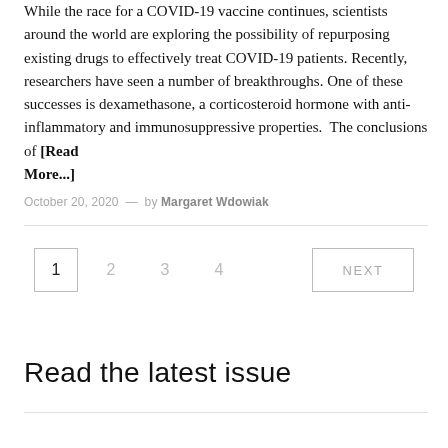While the race for a COVID-19 vaccine continues, scientists around the world are exploring the possibility of repurposing existing drugs to effectively treat COVID-19 patients. Recently, researchers have seen a number of breakthroughs. One of these successes is dexamethasone, a corticosteroid hormone with anti-inflammatory and immunosuppressive properties. The conclusions of [Read More...]
October 20, 2020 — by Margaret Wdowiak
1  2  3  4  NEXT
Read the latest issue